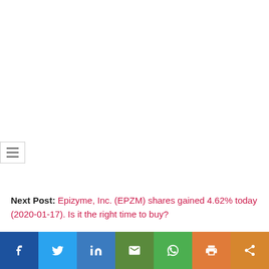[Figure (other): Hamburger menu button with three horizontal lines]
Next Post: Epizyme, Inc. (EPZM) shares gained 4.62% today (2020-01-17). Is it the right time to buy?
[Figure (other): Social share bar with icons for Facebook, Twitter, LinkedIn, Email, WhatsApp, Print, and Share]